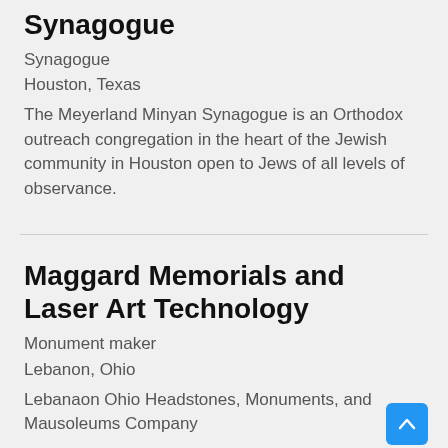Synagogue
Synagogue
Houston, Texas
The Meyerland Minyan Synagogue is an Orthodox outreach congregation in the heart of the Jewish community in Houston open to Jews of all levels of observance.
Maggard Memorials and Laser Art Technology
Monument maker
Lebanon, Ohio
Lebanaon Ohio Headstones, Monuments, and Mausoleums Company